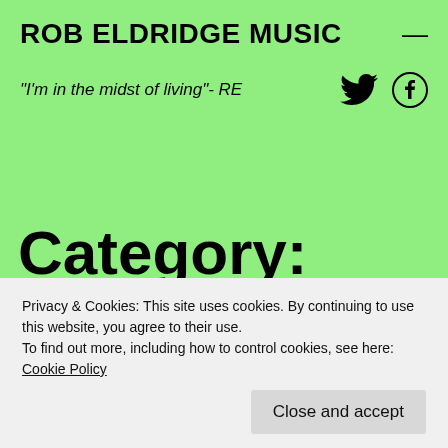ROB ELDRIDGE MUSIC
"I'm in the midst of living"- RE
Category: Uncategorized
Privacy & Cookies: This site uses cookies. By continuing to use this website, you agree to their use.
To find out more, including how to control cookies, see here: Cookie Policy